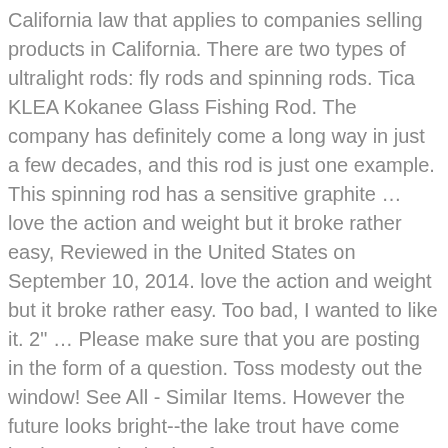California law that applies to companies selling products in California. There are two types of ultralight rods: fly rods and spinning rods. Tica KLEA Kokanee Glass Fishing Rod. The company has definitely come a long way in just a few decades, and this rod is just one example. This spinning rod has a sensitive graphite … love the action and weight but it broke rather easy, Reviewed in the United States on September 10, 2014. love the action and weight but it broke rather easy. Too bad, I wanted to like it. 2" … Please make sure that you are posting in the form of a question. Toss modesty out the window! See All - Similar Items. However the future looks bright--the lake trout have come back strong in the last few … OCT 2011 - OPENING DAY for 2011/2012 trout season at Pyramid Lake Nevada: Hundreds of fisherman hit the lake for the opening day, many fish were caught from boats, few fish from shore, but 'this guy' rocked it! 7'6" ML spinning. Okuma Celilo Ultralight Spinning Rod - Built with good components and specialized actions, making them a great value spinning